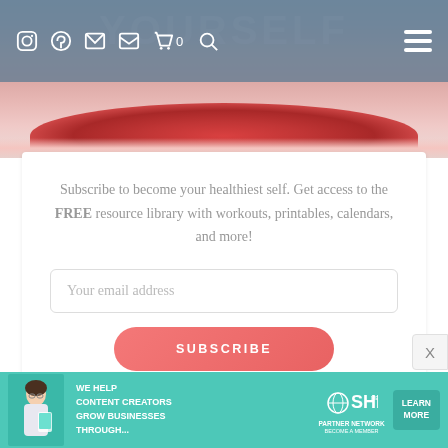[Figure (screenshot): Website header navigation bar with social media icons (Instagram, Pinterest, Facebook, email, shopping cart with 0, search) on a semi-transparent blue-gray background overlay, and a hamburger menu on the right. Background shows a partial hero image of a person's lips with red lipstick.]
Subscribe to become your healthiest self. Get access to the FREE resource library with workouts, printables, calendars, and more!
Your email address
SUBSCRIBE
We won't send you spam. Unsubscribe at any time.
Powered By ConvertKit
[Figure (infographic): Advertisement banner for SHE Media Partner Network. Teal/turquoise background with a woman holding a tablet on the left. Text reads 'WE HELP CONTENT CREATORS GROW BUSINESSES THROUGH...' with SHE Media logo and 'PARTNER NETWORK BECOME A MEMBER' text. Green 'LEARN MORE' button on the right.]